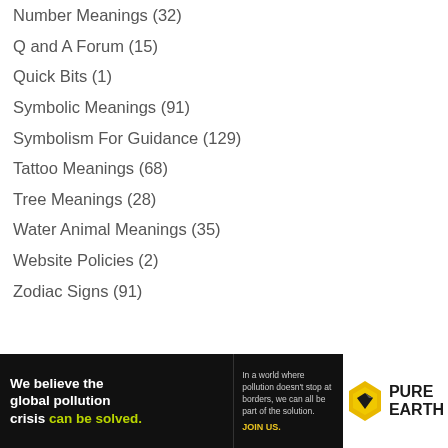Number Meanings (32)
Q and A Forum (15)
Quick Bits (1)
Symbolic Meanings (91)
Symbolism For Guidance (129)
Tattoo Meanings (68)
Tree Meanings (28)
Water Animal Meanings (35)
Website Policies (2)
Zodiac Signs (91)
[Figure (other): Pure Earth advertisement banner: black background with text 'We believe the global pollution crisis can be solved.' in white and green, plus Pure Earth logo with diamond/arrow icon.]